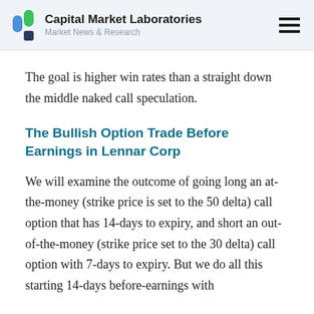Capital Market Laboratories — Market News & Research
The goal is higher win rates than a straight down the middle naked call speculation.
The Bullish Option Trade Before Earnings in Lennar Corp
We will examine the outcome of going long an at-the-money (strike price is set to the 50 delta) call option that has 14-days to expiry, and short an out-of-the-money (strike price set to the 30 delta) call option with 7-days to expiry. But we do all this starting 14-days before-earnings with